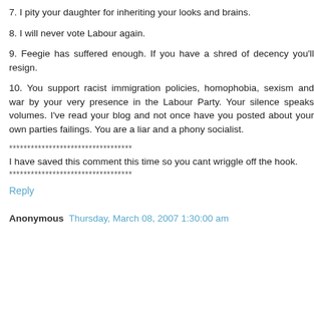7. I pity your daughter for inheriting your looks and brains.
8. I will never vote Labour again.
9. Feegie has suffered enough. If you have a shred of decency you'll resign.
10. You support racist immigration policies, homophobia, sexism and war by your very presence in the Labour Party. Your silence speaks volumes. I've read your blog and not once have you posted about your own parties failings. You are a liar and a phony socialist.
**********************************
I have saved this comment this time so you cant wriggle off the hook.
**********************************
Reply
Anonymous  Thursday, March 08, 2007 1:30:00 am